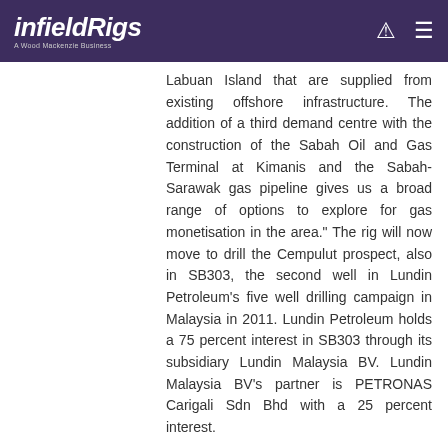infieldRigs — A Wood Mackenzie Business
Labuan Island that are supplied from existing offshore infrastructure. The addition of a third demand centre with the construction of the Sabah Oil and Gas Terminal at Kimanis and the Sabah-Sarawak gas pipeline gives us a broad range of options to explore for gas monetisation in the area." The rig will now move to drill the Cempulut prospect, also in SB303, the second well in Lundin Petroleum's five well drilling campaign in Malaysia in 2011. Lundin Petroleum holds a 75 percent interest in SB303 through its subsidiary Lundin Malaysia BV. Lundin Malaysia BV's partner is PETRONAS Carigali Sdn Bhd with a 25 percent interest.
Lundin Petroleum commences drilling on the Janglau prospect
23
Sep
2011
Lundin Petroleum AB (Lundin Petroleum) is pleased to announce that it has commenced the drilling of the Janglau prospect located in Block PM308A, offshore the east coast of Peninsular